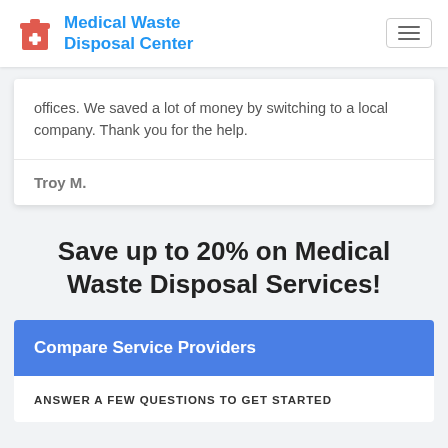Medical Waste Disposal Center
offices. We saved a lot of money by switching to a local company. Thank you for the help.
Troy M.
Save up to 20% on Medical Waste Disposal Services!
Compare Service Providers
ANSWER A FEW QUESTIONS TO GET STARTED